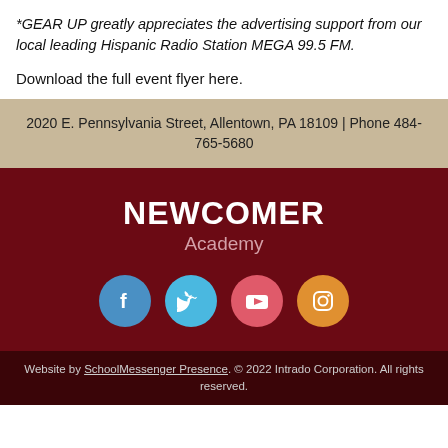*GEAR UP greatly appreciates the advertising support from our local leading Hispanic Radio Station MEGA 99.5 FM.
Download the full event flyer here.
2020 E. Pennsylvania Street, Allentown, PA 18109 | Phone 484-765-5680
NEWCOMER Academy
[Figure (illustration): Social media icons: Facebook (blue), Twitter (light blue), YouTube (red-pink), Instagram (orange)]
Website by SchoolMessenger Presence. © 2022 Intrado Corporation. All rights reserved.